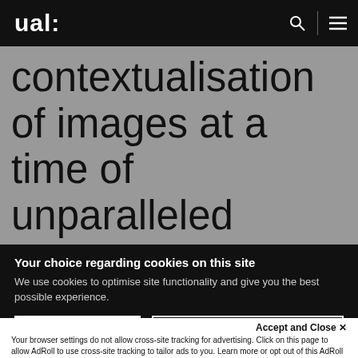ual:
contextualisation of images at a time of unparalleled possibilities
Your choice regarding cookies on this site
We use cookies to optimise site functionality and give you the best possible experience.
I Accept Cookies
I Do Not Accept Cookies
Accept and Close ✕
Your browser settings do not allow cross-site tracking for advertising. Click on this page to allow AdRoll to use cross-site tracking to tailor ads to you. Learn more or opt out of this AdRoll tracking by clicking here. This message only appears once.